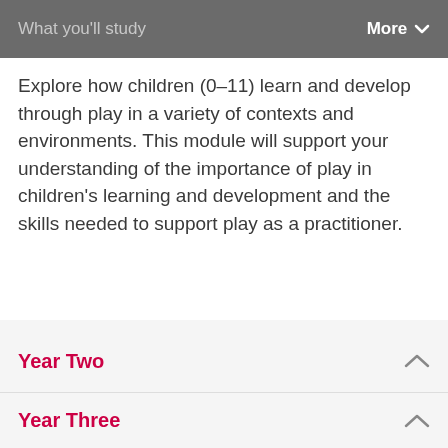What you'll study   More ∨
Explore how children (0–11) learn and develop through play in a variety of contexts and environments. This module will support your understanding of the importance of play in children's learning and development and the skills needed to support play as a practitioner.
Year Two
Year Three